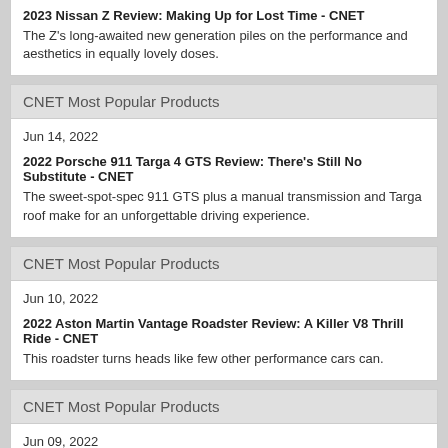2023 Nissan Z Review: Making Up for Lost Time - CNET
The Z's long-awaited new generation piles on the performance and aesthetics in equally lovely doses.
CNET Most Popular Products
Jun 14, 2022
2022 Porsche 911 Targa 4 GTS Review: There's Still No Substitute - CNET
The sweet-spot-spec 911 GTS plus a manual transmission and Targa roof make for an unforgettable driving experience.
CNET Most Popular Products
Jun 10, 2022
2022 Aston Martin Vantage Roadster Review: A Killer V8 Thrill Ride - CNET
This roadster turns heads like few other performance cars can.
CNET Most Popular Products
Jun 09, 2022
2022 Volvo C40 Recharge Review: Emphasizing Style - CNET
What this EV lacks in range it makes up for with design and tech...